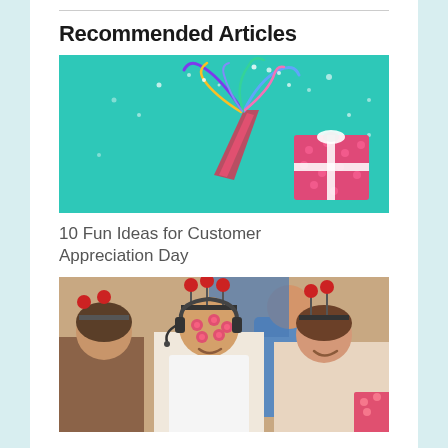Recommended Articles
[Figure (photo): A party favor cone with colorful streamers and confetti exploding out, alongside a pink polka-dot gift box with a white ribbon, on a teal/turquoise background.]
10 Fun Ideas for Customer Appreciation Day
[Figure (photo): Three people in an office wearing fun headbands with red ball antennae. The person in the middle wears a headset and has sticker decorations on their face, all smiling. Party decorations visible in the background.]